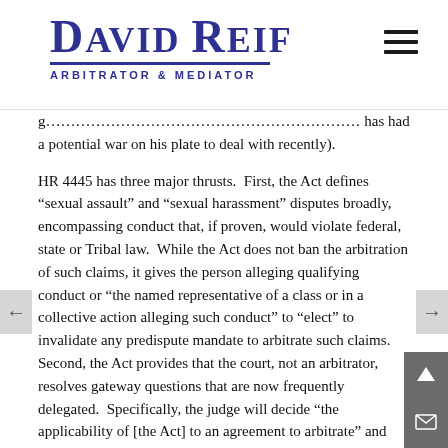David Reif — Arbitrator & Mediator
g... has had a potential war on his plate to deal with recently).
HR 4445 has three major thrusts. First, the Act defines “sexual assault” and “sexual harassment” disputes broadly, encompassing conduct that, if proven, would violate federal, state or Tribal law. While the Act does not ban the arbitration of such claims, it gives the person alleging qualifying conduct or “the named representative of a class or in a collective action alleging such conduct” to “elect” to invalidate any predispute mandate to arbitrate such claims. Second, the Act provides that the court, not an arbitrator, resolves gateway questions that are now frequently delegated. Specifically, the judge will decide “the applicability of [the Act] to an agreement to arbitrate” and “the validity and